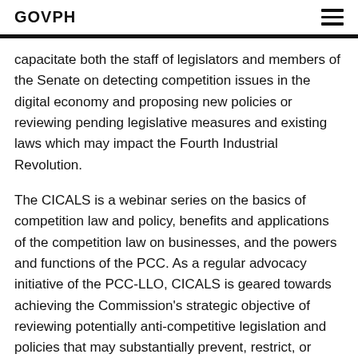GOVPH
capacitate both the staff of legislators and members of the Senate on detecting competition issues in the digital economy and proposing new policies or reviewing pending legislative measures and existing laws which may impact the Fourth Industrial Revolution.
The CICALS is a webinar series on the basics of competition law and policy, benefits and applications of the competition law on businesses, and the powers and functions of the PCC. As a regular advocacy initiative of the PCC-LLO, CICALS is geared towards achieving the Commission's strategic objective of reviewing potentially anti-competitive legislation and policies that may substantially prevent, restrict, or lessen competition in the market.